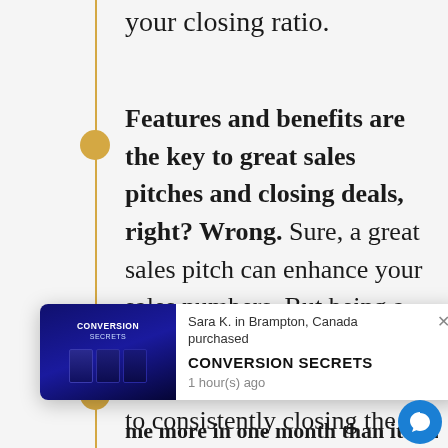your closing ratio.
Features and benefits are the key to great sales pitches and closing deals, right? Wrong. Sure, a great sales pitch can enhance your sales numbers. But being a better listener trumps any benefit when it comes down to consistently closing the best deals. Here's why...
me more in one month than it did in...